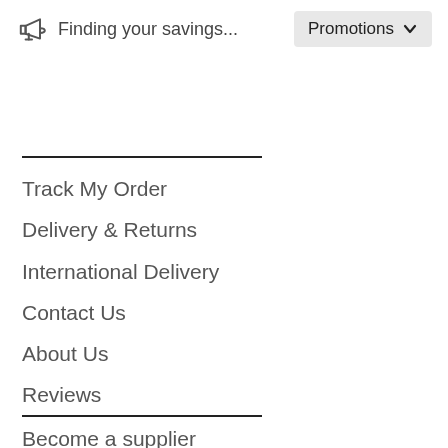Finding your savings... Promotions
Track My Order
Delivery & Returns
International Delivery
Contact Us
About Us
Reviews
Become a supplier